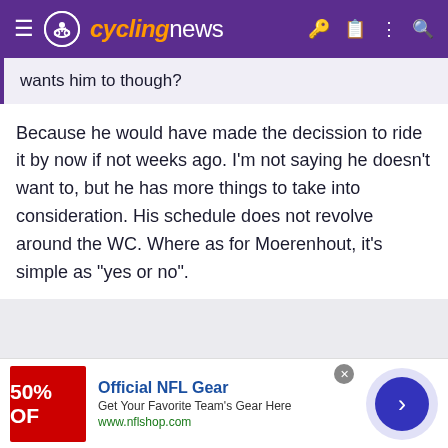cyclingnews
wants him to though?
Because he would have made the decission to ride it by now if not weeks ago. I'm not saying he doesn't want to, but he has more things to take into consideration. His schedule does not revolve around the WC. Where as for Moerenhout, it's simple as "yes or no".
[Figure (other): Advertisement banner: Official NFL Gear - Get Your Favorite Team's Gear Here, www.nflshop.com, with red 50% OFF image and navigation arrow button]